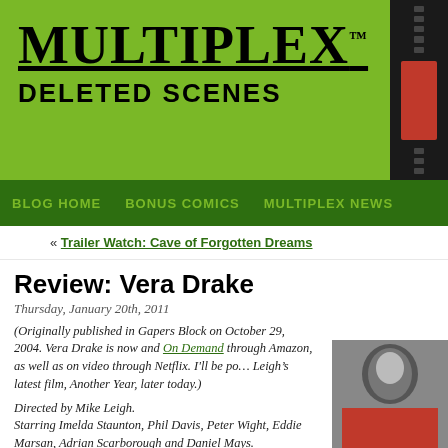MULTIPLEX™ DELETED SCENES
BLOG HOME  BONUS COMICS  MULTIPLEX NEWS
« Trailer Watch: Cave of Forgotten Dreams
Review: Vera Drake
Thursday, January 20th, 2011
(Originally published in Gapers Block on October 29, 2004. Vera Drake is now and On Demand through Amazon, as well as on video through Netflix. I'll be posting Leigh's latest film, Another Year, later today.)
Directed by Mike Leigh.
Starring Imelda Staunton, Phil Davis, Peter Wight, Eddie Marsan, Adrian Scarborough and Daniel Mays.
In  Topsy-Turvy director Mike Leigh's new drama,  Vera Drake, Imelda Staunton (Sense & Sensibility, Shakespeare in Love) stars as the title
[Figure (photo): Headshot photo of a person with dark hair]